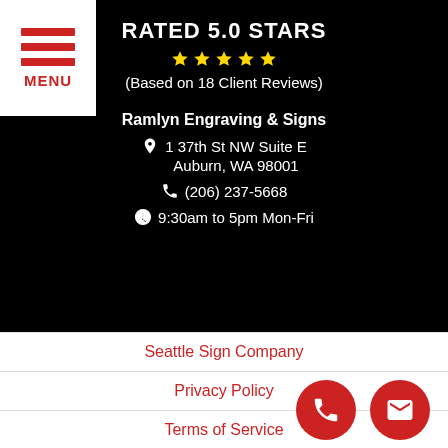[Figure (screenshot): Menu button with three red horizontal lines and MENU text on white background, top-left corner]
RATED 5.0 STARS
[Figure (other): Five gold star rating icons]
(Based on 18 Client Reviews)
Ramlyn Engraving & Signs
1 37th St NW Suite E
Auburn, WA 98001
(206) 237-5668
9:30am to 5pm Mon-Fri
Seattle Sign Company
Privacy Policy
Terms of Service